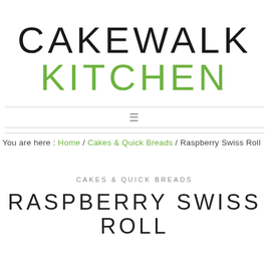CAKEWALK KITCHEN
≡
You are here: Home / Cakes & Quick Breads / Raspberry Swiss Roll
CAKES & QUICK BREADS
RASPBERRY SWISS ROLL